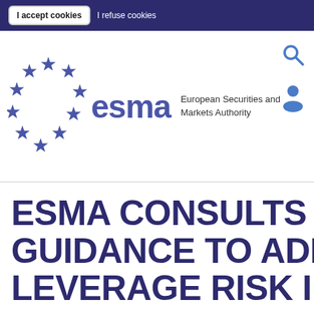I accept cookies   I refuse cookies
[Figure (logo): ESMA logo with EU stars circle and text 'European Securities and Markets Authority']
ESMA CONSULTS ON GUIDANCE TO ADDRESS LEVERAGE RISK IN TH...